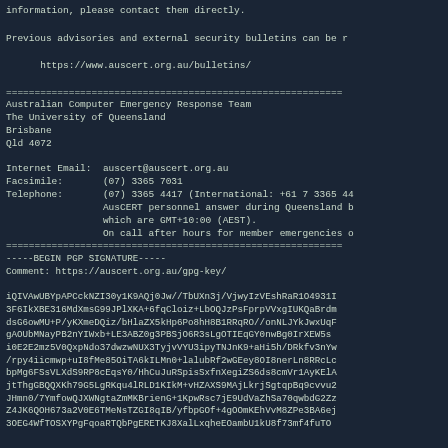information, please contact them directly.
Previous advisories and external security bulletins can be r
https://www.auscert.org.au/bulletins/
===========================================================
Australian Computer Emergency Response Team
The University of Queensland
Brisbane
Qld 4072

Internet Email:  auscert@auscert.org.au
Facsimile:       (07) 3365 7031
Telephone:       (07) 3365 4417 (International: +61 7 3365 44
                 AusCERT personnel answer during Queensland b
                 which are GMT+10:00 (AEST).
                 On call after hours for member emergencies o
===========================================================
-----BEGIN PGP SIGNATURE-----
Comment: https://auscert.org.au/gpg-key/

iQIVAwUBYpAPCckNZI30y1K9AQj0Jw//TbUXn3j/VjwyIzVEshRaR1O4931I
3F6IkXBE316MdXmsG99JPlXKA+6fqCloiz+LbOQJzPsFprpVVxgIUKQaBrdm
dsG6owMU+P/yKXmeDQiz/bHlaZX5kHp6Po8hH8B1RRqRO//onNLJYkJwxUqF
gAOUbMNayPB2nYIWxb+LE3ABZ0g3PBSjO6R3sLgOTIEqGY0nwBg0IrXEW5s
i0E2E2mz5V0QxpNdo37dwzwNUX3TyjvVYU3ipyTNJnK9+aHi5h/DRkfv3nYw
/rpy4iicmwp+uI8fMe85OiTA6kILMn0+lalubRf2wGEey8OI8nerLn8RRcLc
bpMg6FSsVLXdS9RP8cEqsY0/HhCuJuRSpisSxfnXegiZS6ds8cmVr1AyKElA
jtThgGBQQXKh79G5LgRKqu4lRLD1KIkM+vHZAXS9MAjLkrjSgtqpBq9cvvu2
JHmn0/7YmfowQJXWNgtaZmMKBrienG+1KpwRsc7jE9UdVaZhSa70qwbdG2Zz
Z4JK6QOH673a2V0E6TMeNsTZGI8qIB/yfbpGOf+4gOOmKEhVvM8ZPe3BA6ej
3OEG4WfTOSXYPgFqoaRTQbPgERETKJ8XalLxqheEOambU1kU8f73mf4fuTO